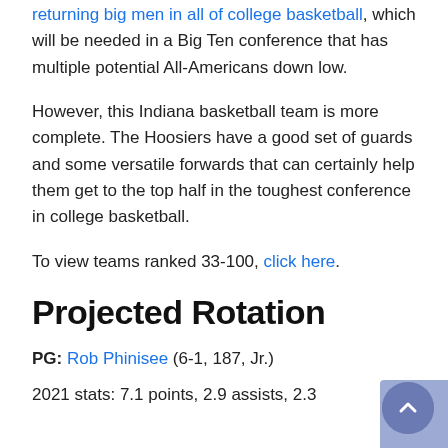returning big men in all of college basketball, which will be needed in a Big Ten conference that has multiple potential All-Americans down low.
However, this Indiana basketball team is more complete. The Hoosiers have a good set of guards and some versatile forwards that can certainly help them get to the top half in the toughest conference in college basketball.
To view teams ranked 33-100, click here.
Projected Rotation
PG: Rob Phinisee (6-1, 187, Jr.)
2021 stats: 7.1 points, 2.9 assists, 2.3